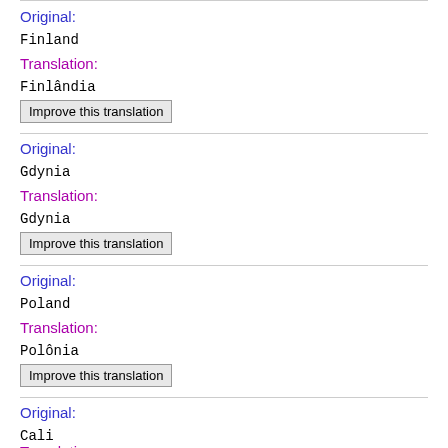Original:
Finland
Translation:
Finlândia
Improve this translation
Original:
Gdynia
Translation:
Gdynia
Improve this translation
Original:
Poland
Translation:
Polônia
Improve this translation
Original:
Cali
Translation: